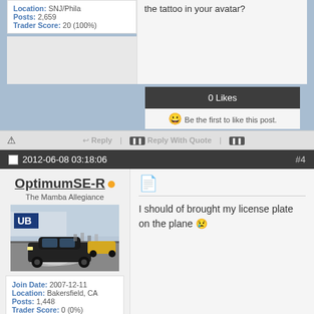Location: SNJ/Phila
Posts: 2,659
Trader Score: 20 (100%)
the tattoo in your avatar?
0 Likes
Be the first to like this post.
Reply | Reply With Quote
2012-06-08 03:18:06  #4
OptimumSE-R
The Mamba Allegiance
[Figure (photo): Car racing photo showing a dark car doing a burnout/drag race on a track with smoke, spectators in background]
Join Date: 2007-12-11
Location: Bakersfield, CA
Posts: 1,448
Trader Score: 0 (0%)
I should of brought my license plate on the plane 😢
0 Likes